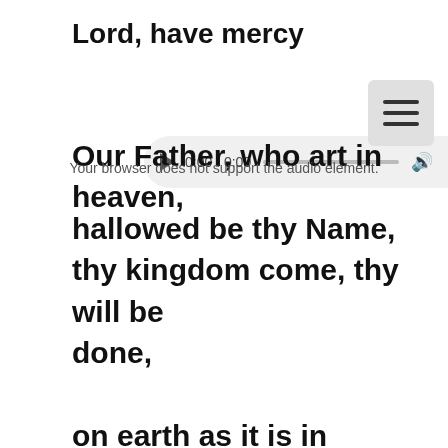Lord, have mercy
[Figure (other): Audio player widget showing 0:00 / 0:00 with play button, progress bar, volume icon, and menu dots]
Our Father, who art in heaven,
Your browser does not support the audio element.
hallowed be thy Name,
thy kingdom come, thy will be done,
on earth as it is in heaven.
Give us this day our daily bread.
And forgive us our trespasses,
as we forgive those who